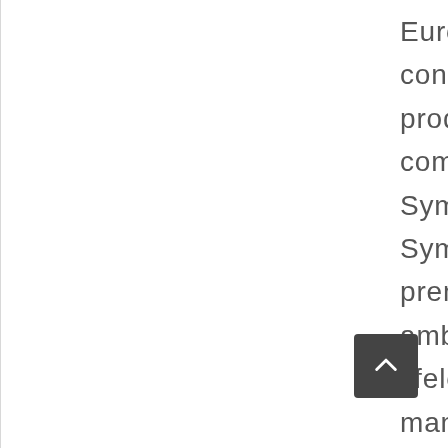European Orchestra, Foulds also continued with undiminished energy to produce demanding compositions. He completed two Pasquinades Symphoniques, and on 10 March 1939 his Symphonic Studies for Strings was premièred in Bombay. Foulds had ambitious plans and worked to fulfill his lifelong dreams for the benefit of all mankind. When he was offered a high-level position in newly founded radio station in Calcutta, he ignored his wife's